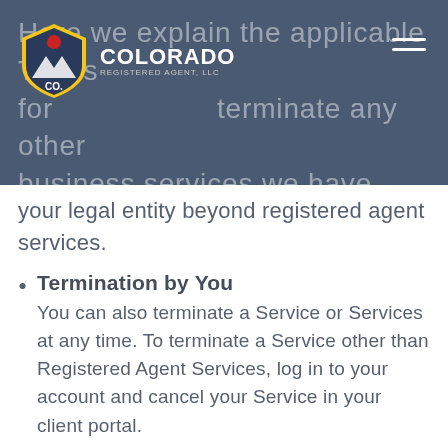[Figure (logo): Colorado Registered Agent LLC logo — shield shape with mountain graphic on blue header banner, with hamburger menu icon top right]
Here we explain the applicable Terms for terminate any other business services we have provided for your legal entity beyond registered agent services.
Termination by You — You can also terminate a Service or Services at any time. To terminate a Service other than Registered Agent Services, log in to your account and cancel your Service in your client portal.
Termination by Us — We may terminate a Service or